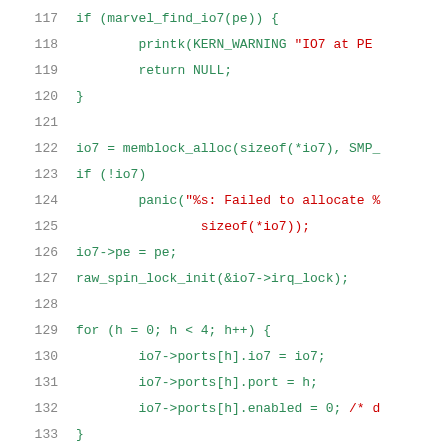Source code listing, lines 117-137, C kernel code with syntax highlighting